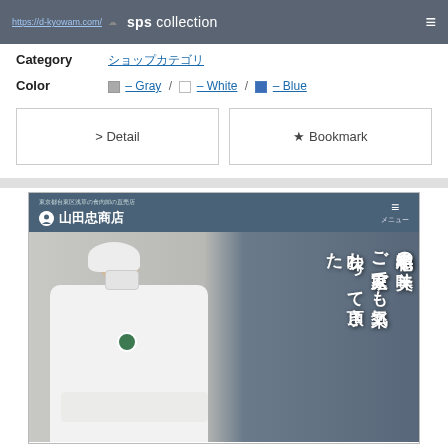sps collection
Category  ショップカテゴリ
Color  □ – Gray / □ – White / □ – Blue
> Detail
★ Bookmark
[Figure (screenshot): Preview screenshot of 山田忠商店 (Yamada Tadashi Shoten) website — a Tokyo beef/meat shop. Shows a dark blue-gray navigation bar with shop name and hamburger menu, below which is a hero image of a worker in white protective clothing and hairnet, with vertical Japanese text overlay reading 黒毛和牛の美味 ご家庭でも気楽に味わって頂きた]